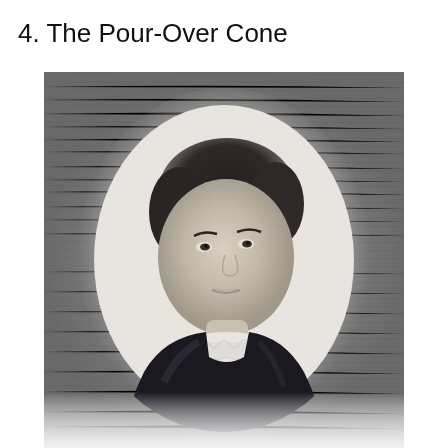4. The Pour-Over Cone
[Figure (photo): Black and white historical portrait photograph of a woman in Victorian-era clothing. She wears a dark dress with a white lace collar and has her dark hair pinned up. The portrait is presented in an oval vignette style against a wood-grain textured background.]